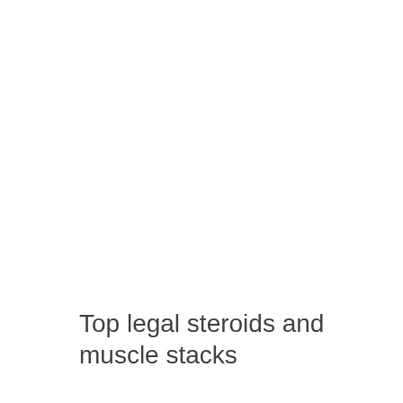Top legal steroids and muscle stacks